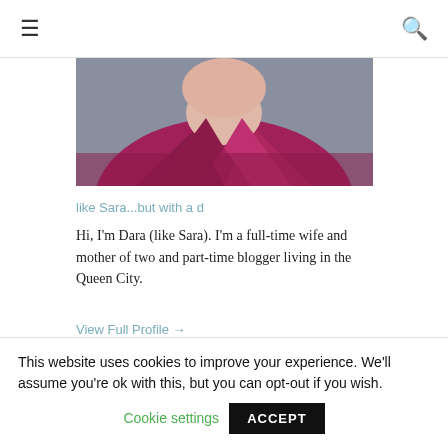≡  🔍
[Figure (photo): Close-up photo of a person wearing a magenta/dark pink jacket or top, showing neck and lower chin area]
like Sara...but with a d
Hi, I'm Dara (like Sara). I'm a full-time wife and mother of two and part-time blogger living in the Queen City.
View Full Profile →
FOLLOW
This website uses cookies to improve your experience. We'll assume you're ok with this, but you can opt-out if you wish. Cookie settings ACCEPT